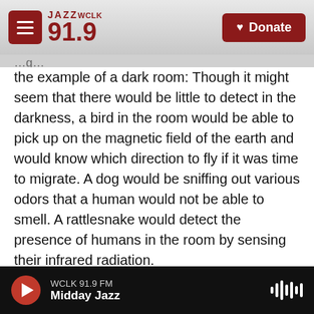JAZZ WCLK 91.9 | Donate
the example of a dark room: Though it might seem that there would be little to detect in the darkness, a bird in the room would be able to pick up on the magnetic field of the earth and would know which direction to fly if it was time to migrate. A dog would be sniffing out various odors that a human would not be able to smell. A rattlesnake would detect the presence of humans in the room by sensing their infrared radiation.
"Each of these creatures, we could all be sharing exactly the same physical space and have a radically different experience of that space." Yong
WCLK 91.9 FM | Midday Jazz